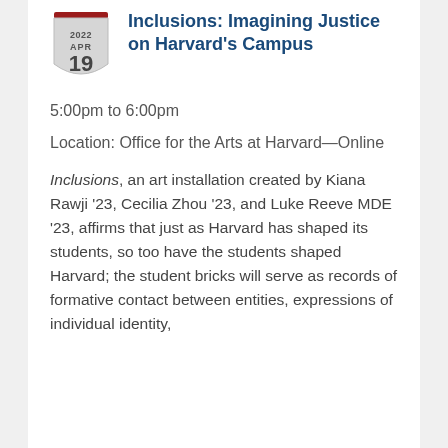[Figure (other): Shield/badge icon with date 2022 APR 19 in gray]
Inclusions: Imagining Justice on Harvard's Campus
5:00pm to 6:00pm
Location: Office for the Arts at Harvard—Online
Inclusions, an art installation created by Kiana Rawji '23, Cecilia Zhou '23, and Luke Reeve MDE '23, affirms that just as Harvard has shaped its students, so too have the students shaped Harvard; the student bricks will serve as records of formative contact between entities, expressions of individual identity,